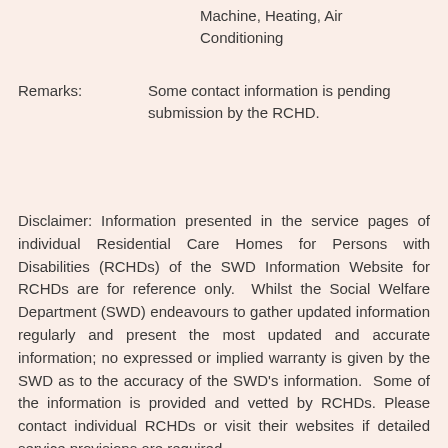Machine, Heating, Air Conditioning
Remarks:        Some contact information is pending submission by the RCHD.
Disclaimer: Information presented in the service pages of individual Residential Care Homes for Persons with Disabilities (RCHDs) of the SWD Information Website for RCHDs are for reference only.  Whilst the Social Welfare Department (SWD) endeavours to gather updated information regularly and present the most updated and accurate information; no expressed or implied warranty is given by the SWD as to the accuracy of the SWD's information.  Some of the information is provided and vetted by RCHDs. Please contact individual RCHDs or visit their websites if detailed service provisions are required.